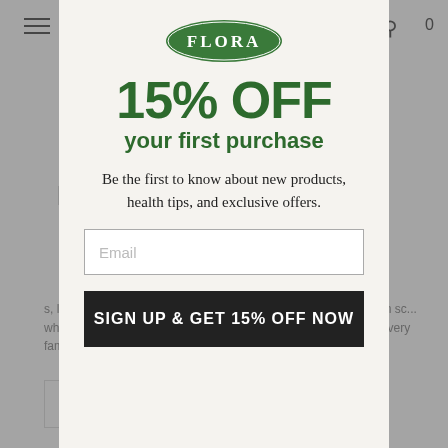[Figure (logo): Flora brand logo — oval green badge with white FLORA text]
15% OFF
your first purchase
Be the first to know about new products, health tips, and exclusive offers.
Email
SIGN UP & GET 15% OFF NOW
ELDERBERRY TO THE RESCUE THIS WINTER!
s, like a scene out of a horror movie, your child comes home from sc... what's coming next. This new cold will make its rounds through every family member – including you. And you really don't have t...
CONTINUE READING